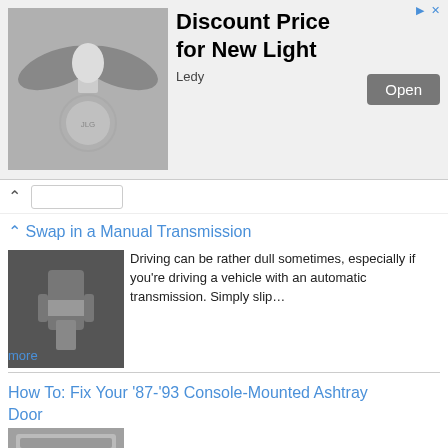[Figure (photo): Advertisement banner showing a light bulb/fixture with wings on grey background, with text 'Discount Price for New Light' and an Open button, branded as Ledy]
Swap in a Manual Transmission
[Figure (photo): Black and white photo of hands working on a vehicle transmission]
Driving can be rather dull sometimes, especially if you're driving a vehicle with an automatic transmission. Simply slip… more
How To: Fix Your '87-'93 Console-Mounted Ashtray Door
[Figure (photo): Photo of a console-mounted ashtray door, grey colored, partially cropped at bottom]